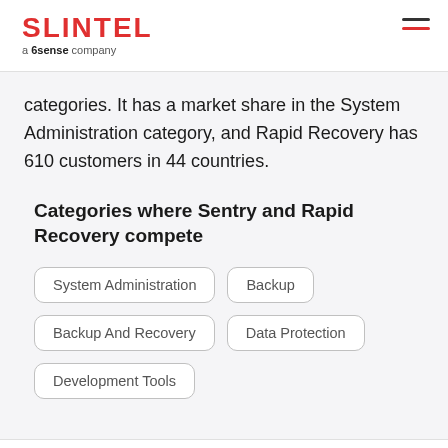SLINTEL a 6sense company
categories. It has a market share in the System Administration category, and Rapid Recovery has 610 customers in 44 countries.
Categories where Sentry and Rapid Recovery compete
System Administration
Backup
Backup And Recovery
Data Protection
Development Tools